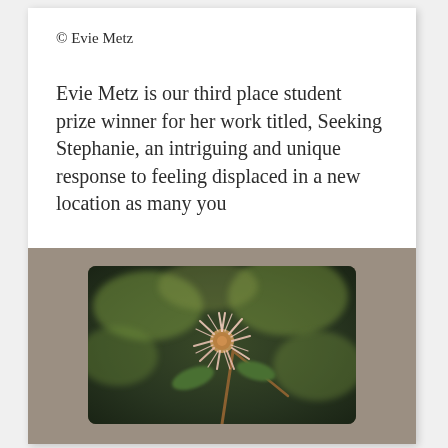© Evie Metz
Evie Metz is our third place student prize winner for her work titled, Seeking Stephanie, an intriguing and unique response to feeling displaced in a new location as many you
[Figure (photo): A close-up photograph of a pale pink spiky flower bloom against a dark blurred green background, mounted on a gray-brown textured fabric/board, displayed as a print within the book.]